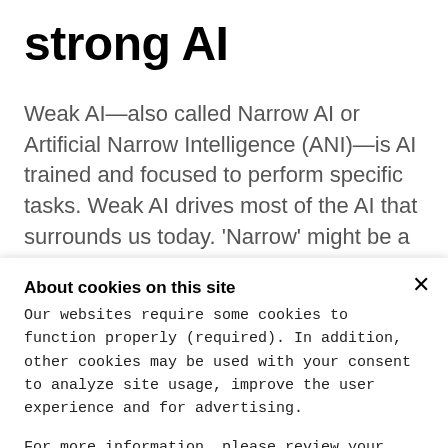strong AI
Weak AI—also called Narrow AI or Artificial Narrow Intelligence (ANI)—is AI trained and focused to perform specific tasks. Weak AI drives most of the AI that surrounds us today. 'Narrow' might be a more accurate descriptor for this type of AI as it is
About cookies on this site
Our websites require some cookies to function properly (required). In addition, other cookies may be used with your consent to analyze site usage, improve the user experience and for advertising.
For more information, please review your Cookie preferences options and IBM's privacy statement.
Required only
Accept all